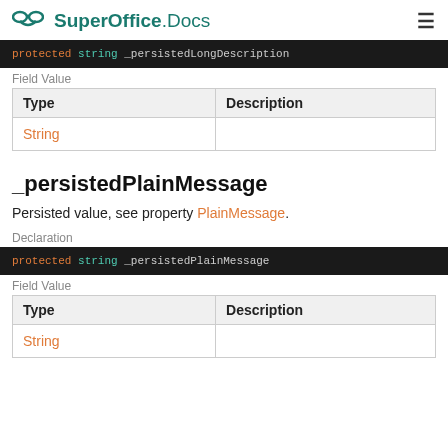SuperOffice.Docs
[Figure (screenshot): Code block showing: protected string _persistedLongDescription]
Field Value
| Type | Description |
| --- | --- |
| String |  |
_persistedPlainMessage
Persisted value, see property PlainMessage.
Declaration
[Figure (screenshot): Code block showing: protected string _persistedPlainMessage]
Field Value
| Type | Description |
| --- | --- |
| String |  |